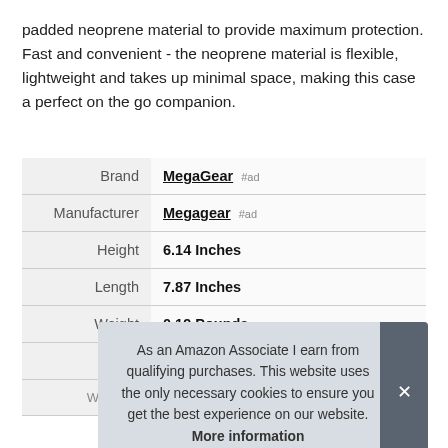padded neoprene material to provide maximum protection. Fast and convenient - the neoprene material is flexible, lightweight and takes up minimal space, making this case a perfect on the go companion.
|  |  |
| --- | --- |
| Brand | MegaGear #ad |
| Manufacturer | Megagear #ad |
| Height | 6.14 Inches |
| Length | 7.87 Inches |
| Weight | 0.19 Pounds |
| P |  |
| Warranty | 90 days |
As an Amazon Associate I earn from qualifying purchases. This website uses the only necessary cookies to ensure you get the best experience on our website. More information